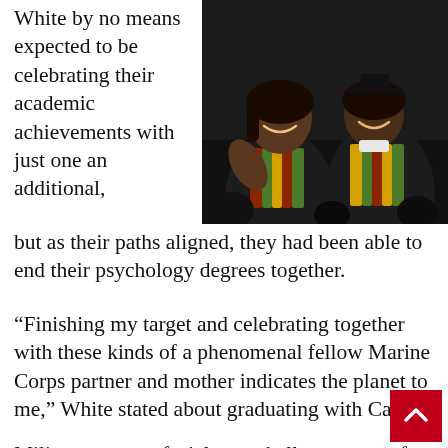[Figure (photo): Two Black women in graduation gowns and kente stoles smiling and celebrating at a graduation ceremony]
White by no means expected to be celebrating their academic achievements with just one an additional, but as their paths aligned, they had been able to end their psychology degrees together.
“Finishing my target and celebrating together with these kinds of a phenomenal fellow Marine Corps partner and mother indicates the planet to me,” White stated about graduating with Callier.
Military spouses facial area challenges one of a kind to their lifestyle and it can typically be isolating, White reported. But armed forces spouses can bond with every other over deployments, special